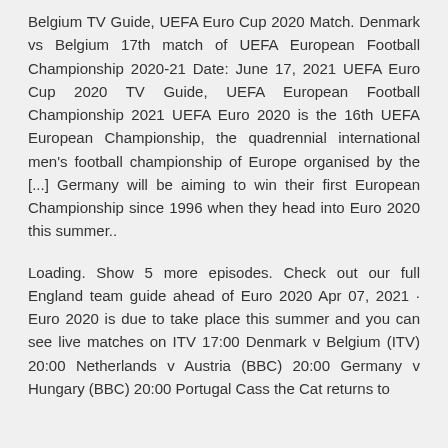Belgium TV Guide, UEFA Euro Cup 2020 Match. Denmark vs Belgium 17th match of UEFA European Football Championship 2020-21 Date: June 17, 2021 UEFA Euro Cup 2020 TV Guide, UEFA European Football Championship 2021 UEFA Euro 2020 is the 16th UEFA European Championship, the quadrennial international men's football championship of Europe organised by the [...] Germany will be aiming to win their first European Championship since 1996 when they head into Euro 2020 this summer..
Loading. Show 5 more episodes. Check out our full England team guide ahead of Euro 2020 Apr 07, 2021 · Euro 2020 is due to take place this summer and you can see live matches on ITV 17:00 Denmark v Belgium (ITV) 20:00 Netherlands v Austria (BBC) 20:00 Germany v Hungary (BBC) 20:00 Portugal Cass the Cat returns to